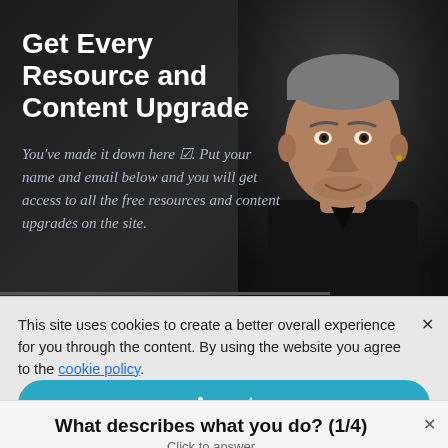Get Every Resource and Content Upgrade
You've made it down here ✓. Put your name and email below and you will get access to all the free resources and content upgrades on the site.
[Figure (photo): Headshot of a man in a black t-shirt on a dark background, right side of header]
This site uses cookies to create a better overall experience for you through the content. By using the website you agree to the cookie policy.
Accept
What describes what you do? (1/4)
Click to answer